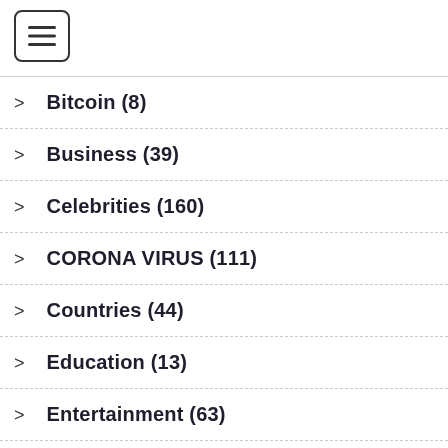[Figure (other): Hamburger menu icon button]
Bitcoin (8)
Business (39)
Celebrities (160)
CORONA VIRUS (111)
Countries (44)
Education (13)
Entertainment (63)
Game (20)
General (21)